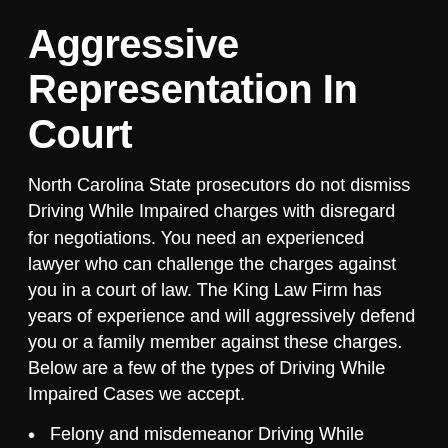Aggressive Representation In Court
North Carolina State prosecutors do not dismiss Driving While Impaired charges with disregard for negotiations. You need an experienced lawyer who can challenge the charges against you in a court of law. The King Law Firm has years of experience and will aggressively defend you or a family member against these charges. Below are a few of the types of Driving While Impaired Cases we accept.
Felony and misdemeanor Driving While Impaired
Underage Driving While Impaired and Minor in Possession (MIP)
Aggravated Driving While Impaired